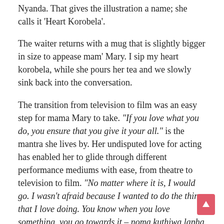Nyanda. That gives the illustration a name; she calls it 'Heart Korobela'.
The waiter returns with a mug that is slightly bigger in size to appease mam' Mary. I sip my heart korobela, while she pours her tea and we slowly sink back into the conversation.
The transition from television to film was an easy step for mama Mary to take. "If you love what you do, you ensure that you give it your all." is the mantra she lives by. Her undisputed love for acting has enabled her to glide through different performance mediums with ease, from theatre to television to film. "No matter where it is, I would go. I wasn't afraid because I wanted to do the thing that I love doing. You know when you love something, you go towards it – noma kuthiwa lapha kunemi mfula, nani, nani – God help me, ngizoyenza!"
In addition to her television resume, Mary Twala has an impressive and mind-blowing film portfolio. She made her film debut in 1975, in the feature-film Udeliwe, directed by